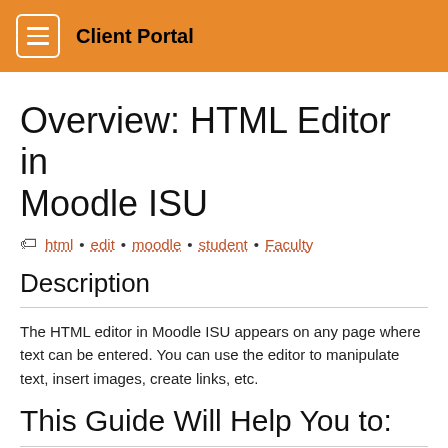Client Portal
Overview: HTML Editor in Moodle ISU
html • edit • moodle • student • Faculty
Description
The HTML editor in Moodle ISU appears on any page where text can be entered. You can use the editor to manipulate text, insert images, create links, etc.
This Guide Will Help You to:
Identify Icons in the Moodle ISU Editor